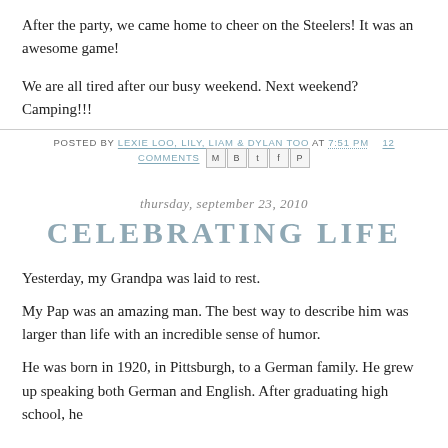After the party, we came home to cheer on the Steelers! It was an awesome game!
We are all tired after our busy weekend. Next weekend? Camping!!!
POSTED BY LEXIE LOO, LILY, LIAM & DYLAN TOO AT 7:51 PM  12 COMMENTS
thursday, september 23, 2010
CELEBRATING LIFE
Yesterday, my Grandpa was laid to rest.
My Pap was an amazing man. The best way to describe him was larger than life with an incredible sense of humor.
He was born in 1920, in Pittsburgh, to a German family. He grew up speaking both German and English. After graduating high school, he